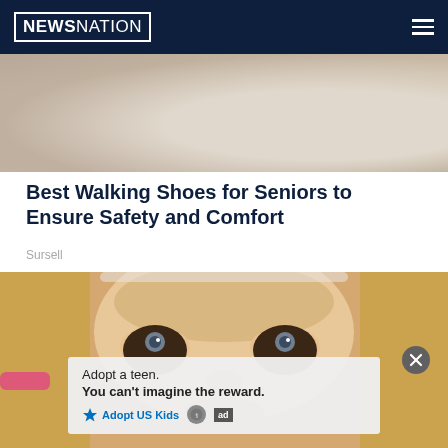NEWSNATION
[Figure (photo): Partial view of shoes/feet on a light background, top portion of a shoe image]
Best Walking Shoes for Seniors to Ensure Safety and Comfort
Sursell
[Figure (photo): Close-up photo of a blonde woman with dramatically smudged dark mascara/eye makeup around both eyes, holding a pink object near her face]
[Figure (other): Advertisement overlay: Adopt a teen. You can't imagine the reward. AdoptUSKids logo with HHS and ad badge icons]